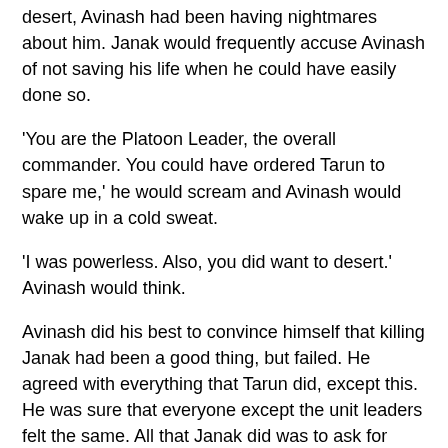Ever since Janak had been executed for wanting to desert, Avinash had been having nightmares about him. Janak would frequently accuse Avinash of not saving his life when he could have easily done so.
'You are the Platoon Leader, the overall commander. You could have ordered Tarun to spare me,' he would scream and Avinash would wake up in a cold sweat.
'I was powerless. Also, you did want to desert.' Avinash would think.
Avinash did his best to convince himself that killing Janak had been a good thing, but failed. He agreed with everything that Tarun did, except this. He was sure that everyone except the unit leaders felt the same. All that Janak did was to ask for permission to leave. To accuse him of wanting to desert and to execute him in cold blood using a firing squad had been extreme, and Tarun had